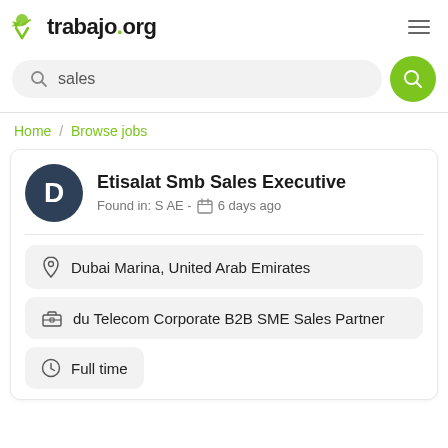trabajo.org
sales
Home / Browse jobs
Etisalat Smb Sales Executive
Found in: S AE - 6 days ago
Dubai Marina, United Arab Emirates
du Telecom Corporate B2B SME Sales Partner
Full time